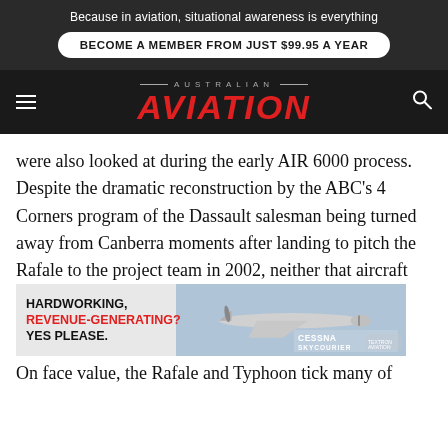Because in aviation, situational awareness is everything
BECOME A MEMBER FROM JUST $99.95 A YEAR
AUSTRALIAN AVIATION
were also looked at during the early AIR 6000 process. Despite the dramatic reconstruction by the ABC’s 4 Corners program of the Dassault salesman being turned away from Canberra moments after landing to pitch the Rafale to the project team in 2002, neither that aircraft nor the Typhoon were seriously in play for either AIR 6000 and certainly not for the later AIR 5349 bridging capability.
[Figure (photo): Cessna SkyCourier aircraft advertisement banner: HARDWORKING, REVENUE-GENERATING? YES PLEASE. Cessna SkyCourier logo.]
On face value, the Rafale and Typhoon tick many of